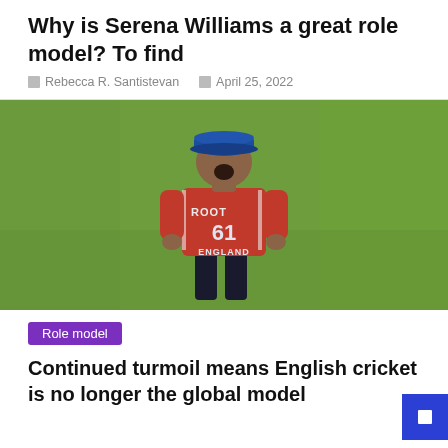Why is Serena Williams a great role model? To find
Rebecca R. Santistevan   April 25, 2022
[Figure (photo): Cricket player in red England jersey number 61 with name ROOT on back, wearing a blue cap, standing on a green cricket field, viewed from behind.]
Role model
Continued turmoil means English cricket is no longer the global model